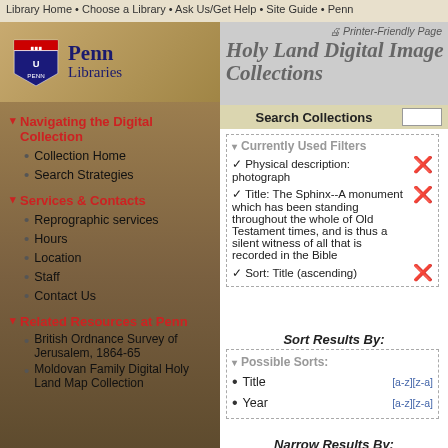Library Home • Choose a Library • Ask Us/Get Help • Site Guide • Penn
[Figure (logo): Penn Libraries shield logo with text 'Penn Libraries']
Printer-Friendly Page
Holy Land Digital Image Collections
Navigating the Digital Collection
Collection Home
Search Strategies
Services & Contacts
Reprographic services
Hours
Location
Staff
Contact Us
Related Resources at Penn
British Ordnance Survey of Jerusalem, 1864-65
Moldovan Family Digital Holy Land Map Collection
Search Collections
Currently Used Filters
Physical description: photograph
Title: The Sphinx--A monument which has been standing throughout the whole of Old Testament times, and is thus a silent witness of all that is recorded in the Bible
Sort: Title (ascending)
Sort Results By:
Possible Sorts:
Title  [a-z][z-a]
Year  [a-z][z-a]
Narrow Results By: